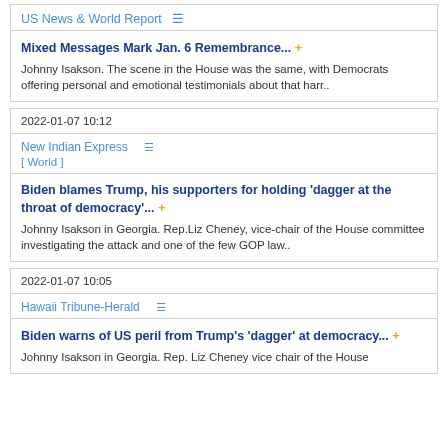US News & World Report
Mixed Messages Mark Jan. 6 Remembrance...
Johnny Isakson. The scene in the House was the same, with Democrats offering personal and emotional testimonials about that harr..
2022-01-07 10:12
New Indian Express
[ World ]
Biden blames Trump, his supporters for holding 'dagger at the throat of democracy'...
Johnny Isakson in Georgia. Rep.Liz Cheney, vice-chair of the House committee investigating the attack and one of the few GOP law..
2022-01-07 10:05
Hawaii Tribune-Herald
Biden warns of US peril from Trump's 'dagger' at democracy...
Johnny Isakson in Georgia. Rep. Liz Cheney vice chair of the House